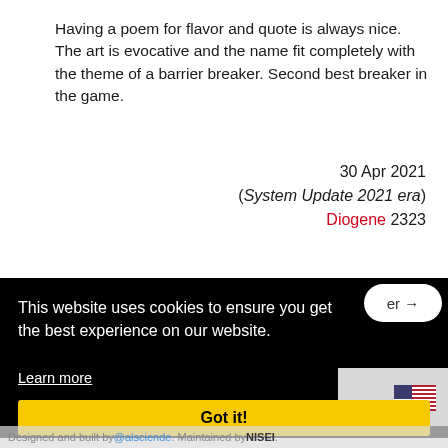Having a poem for flavor and quote is always nice. The art is evocative and the name fit completely with the theme of a barrier breaker. Second best breaker in the game.
30 Apr 2021
(System Update 2021 era)
Diogene 2323
Add a comment
This website uses cookies to ensure you get the best experience on our website.
Learn more
Got it!
Designed and built by @alsciende. Maintained by NISEI.